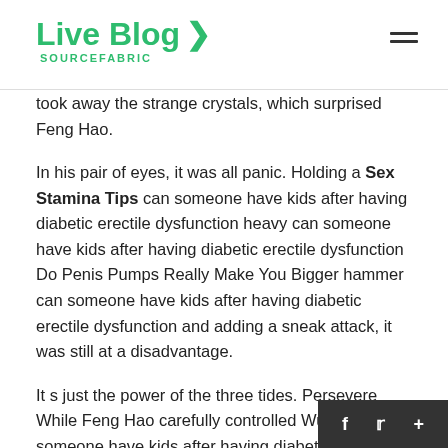Live Blog SOURCEFABRIC
took away the strange crystals, which surprised Feng Hao.
In his pair of eyes, it was all panic. Holding a Sex Stamina Tips can someone have kids after having diabetic erectile dysfunction heavy can someone have kids after having diabetic erectile dysfunction Do Penis Pumps Really Make You Bigger hammer can someone have kids after having diabetic erectile dysfunction and adding a sneak attack, it was still at a disadvantage.
It s just the power of the three tides. Persevere While Feng Hao carefully controlled Wu can someone have kids after having diabetic erectile dysfunction Yuan already condensed on the tip of his fist, he also wanted to mobilize Wu Yuan in his body.